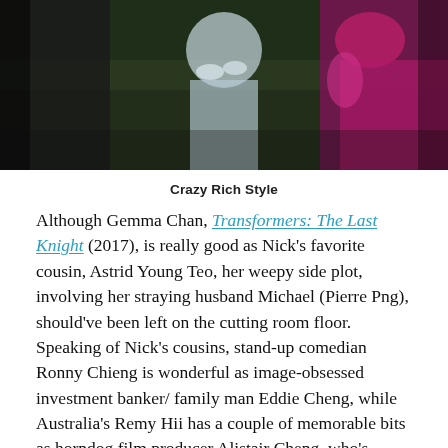[Figure (photo): Fashion photo of people at an event; a woman in a light blue ruffled gown is in the center, a person in a dark suit on the left, and someone in a bright pink/magenta outfit on the right, against a dark green leafy background.]
Crazy Rich Style
Although Gemma Chan, Transformers: The Last Knight (2017), is really good as Nick’s favorite cousin, Astrid Young Teo, her weepy side plot, involving her straying husband Michael (Pierre Png), should’ve been left on the cutting room floor. Speaking of Nick’s cousins, stand-up comedian Ronny Chieng is wonderful as image-obsessed investment banker/ family man Eddie Cheng, while Australia’s Remy Hii has a couple of memorable bits as horndog film producer Alistair Cheng, who’s dating a gold-digging soap opera bimbo